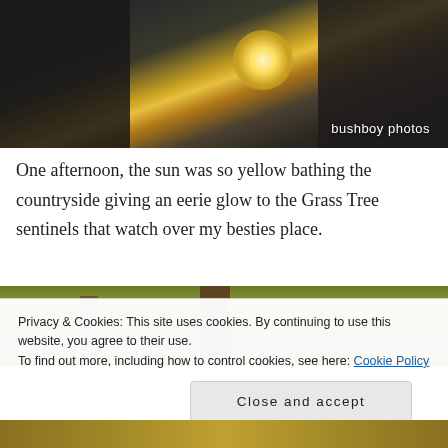[Figure (photo): Photograph of a building exterior with sun glowing brightly between structures, taken from below looking up, with dramatic clouds. Watermark reads 'bushboy photos' in bottom right.]
One afternoon, the sun was so yellow bathing the countryside giving an eerie glow to the Grass Tree sentinels that watch over my besties place.
[Figure (photo): Close-up photograph of a grass tree (Xanthorrhoea) with thick dark trunk surrounded by green bushland vegetation in warm afternoon light.]
Privacy & Cookies: This site uses cookies. By continuing to use this website, you agree to their use.
To find out more, including how to control cookies, see here: Cookie Policy
Close and accept
[Figure (photo): Bottom strip of a photograph showing warm golden-toned Australian bushland scenery.]